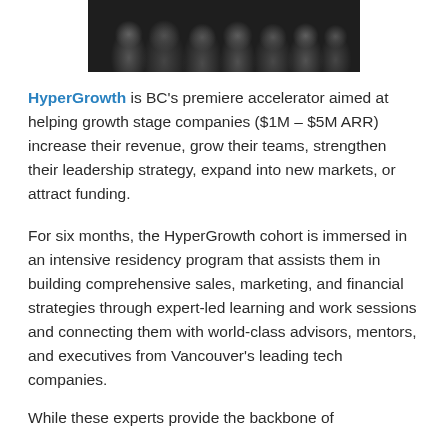[Figure (photo): Group photo of people in an office/startup environment, dark background]
HyperGrowth is BC's premiere accelerator aimed at helping growth stage companies ($1M – $5M ARR) increase their revenue, grow their teams, strengthen their leadership strategy, expand into new markets, or attract funding.
For six months, the HyperGrowth cohort is immersed in an intensive residency program that assists them in building comprehensive sales, marketing, and financial strategies through expert-led learning and work sessions and connecting them with world-class advisors, mentors, and executives from Vancouver's leading tech companies.
While these experts provide the backbone of